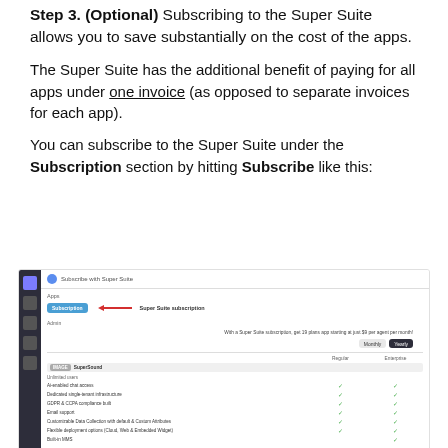Step 3. (Optional) Subscribing to the Super Suite allows you to save substantially on the cost of the apps.
The Super Suite has the additional benefit of paying for all apps under one invoice (as opposed to separate invoices for each app).
You can subscribe to the Super Suite under the Subscription section by hitting Subscribe like this:
[Figure (screenshot): Screenshot of a web application interface showing the Super Suite subscription section. Left sidebar with dark background, top bar with 'Subscribe with Super Suite' label, subscription button with red arrow indicator labeled 'Super Suite subscription', description text, Monthly/Yearly billing toggle buttons, and a feature comparison table with Regular and Enterprise columns showing checkmarks for various features.]